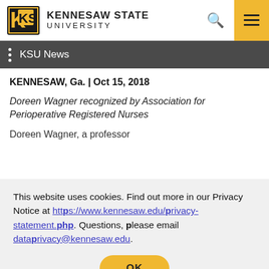[Figure (logo): Kennesaw State University logo with KSU monogram and university name]
KSU News
KENNESAW, Ga. | Oct 15, 2018
Doreen Wagner recognized by Association for Perioperative Registered Nurses
Doreen Wagner, a professor
This website uses cookies. Find out more in our Privacy Notice at https://www.kennesaw.edu/privacy-statement.php. Questions, please email dataprivacy@kennesaw.edu.